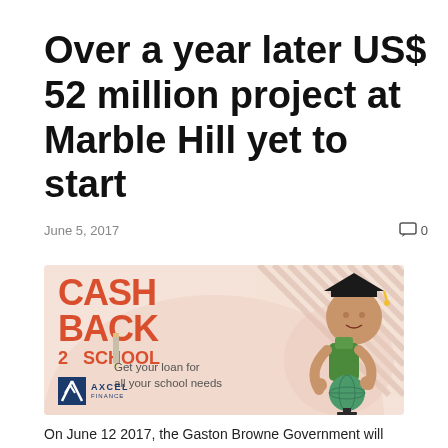Over a year later US$ 52 million project at Marble Hill yet to start
June 5, 2017
0
[Figure (illustration): Axcel Finance advertisement banner: Cash Back 2 School promotion. Pink/salmon background with diagonal stripe pattern. Large red text reading CASH BACK 2 SCHOOL. Tagline: Get your loan for all your school needs. Axcel Finance logo bottom left. Image of a child wearing a graduation cap holding a globe on the right side.]
On June 12 2017, the Gaston Browne Government will